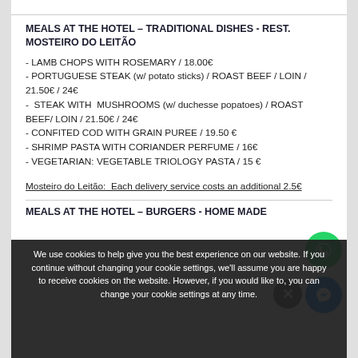MEALS AT THE HOTEL – TRADITIONAL DISHES - REST. MOSTEIRO DO LEITÃO
- LAMB CHOPS WITH ROSEMARY / 18.00€
- PORTUGUESE STEAK (w/ potato sticks) / ROAST BEEF / LOIN / 21.50€ / 24€
-  STEAK WITH  MUSHROOMS (w/ duchesse popatoes) / ROAST BEEF/ LOIN / 21.50€ / 24€
- CONFITED COD WITH GRAIN PUREE / 19.50 €
- SHRIMP PASTA WITH CORIANDER PERFUME / 16€
- VEGETARIAN: VEGETABLE TRIOLOGY PASTA / 15 €
Mosteiro do Leitão:  Each delivery service costs an additional 2.5€
MEALS AT THE HOTEL – BURGERS - HOME MADE
We use cookies to help give you the best experience on our website. If you continue without changing your cookie settings, we'll assume you are happy to receive cookies on the website. However, if you would like to, you can change your cookie settings at any time.